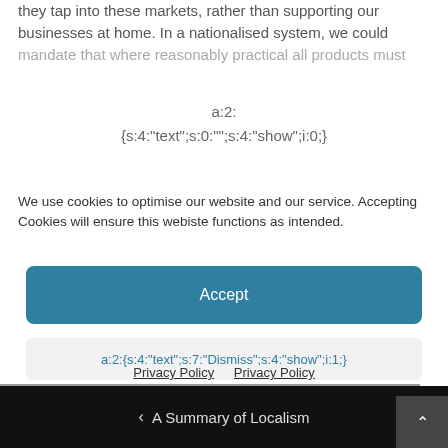they tap into these markets, rather than supporting our businesses at home. In a nationalised system, we could mandate that where reasonably practical all products must
a:2:
{s:4:"text";s:0:"";s:4:"show";i:0;}
We use cookies to optimise our website and our service. Accepting Cookies will ensure this webiste functions as intended.
Accept
a:2:{s:4:"text";s:7:"Dismiss";s:4:"show";i:1;}
Preferences
Privacy Policy  Privacy Policy
< A Summary of Localism